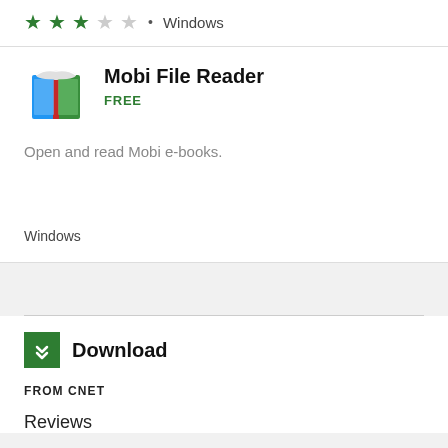[Figure (other): Star rating: 3 out of 5 stars (green filled stars, gray empty stars) followed by a dot separator and the word 'Windows']
[Figure (illustration): App listing card for Mobi File Reader showing a book icon (colorful: blue, red, green pages), app name 'Mobi File Reader', price 'FREE', description 'Open and read Mobi e-books.', and platform 'Windows']
[Figure (logo): Download section with a green square icon containing a downward arrow/chevron symbol, bold label 'Download', 'FROM CNET' subheader, and 'Reviews' link]
Windows
Mobi File Reader
FREE
Open and read Mobi e-books.
Windows
Download
FROM CNET
Reviews